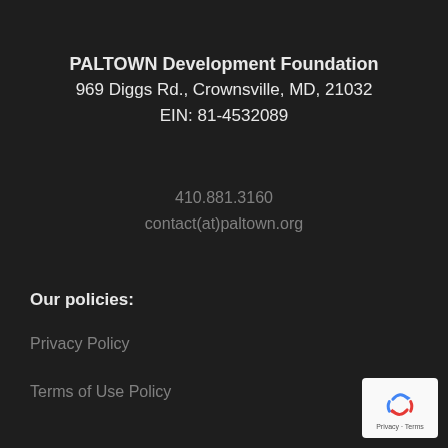PALTOWN Development Foundation
969 Diggs Rd., Crownsville, MD, 21032
EIN: 81-4532089
410.881.3160
contact(at)paltown.org
Our policies:
Privacy Policy
Terms of Use Policy
[Figure (logo): Google reCAPTCHA badge with recycling arrow icon and Privacy - Terms text]